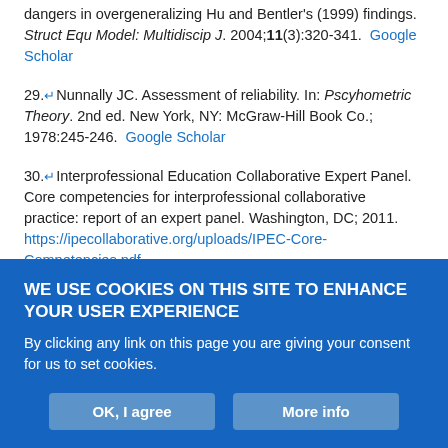dangers in overgeneralizing Hu and Bentler's (1999) findings. Struct Equ Model: Multidiscip J. 2004;11(3):320-341. Google Scholar
29. Nunnally JC. Assessment of reliability. In: Pscyhometric Theory. 2nd ed. New York, NY: McGraw-Hill Book Co.; 1978:245-246. Google Scholar
30. Interprofessional Education Collaborative Expert Panel. Core competencies for interprofessional collaborative practice: report of an expert panel. Washington, DC; 2011. https://ipecollaborative.org/uploads/IPEC-Core-Competencies.pdf. Google Scholar
31. Accreditation Council for Pharmacy Education. Accreditation standards and key elements for the professional program in pharmacy leading to the doctor of pharmacy degree. Standards 2016.
WE USE COOKIES ON THIS SITE TO ENHANCE YOUR USER EXPERIENCE
By clicking any link on this page you are giving your consent for us to set cookies.